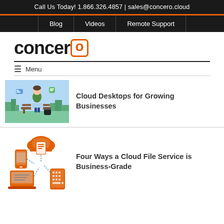Call Us Today! 1.866.326.4857 | sales@concero.cloud
Blog | Videos | Remote Support
[Figure (logo): Concero logo in black with orange rounded-square 'o']
≡ Menu
[Figure (illustration): Person sitting on bench with laptop, cloud computing illustration]
Cloud Desktops for Growing Businesses
[Figure (illustration): Cloud file service diagram showing cloud connected to phone, laptop, document, and tablet icons in red]
Four Ways a Cloud File Service is Business-Grade